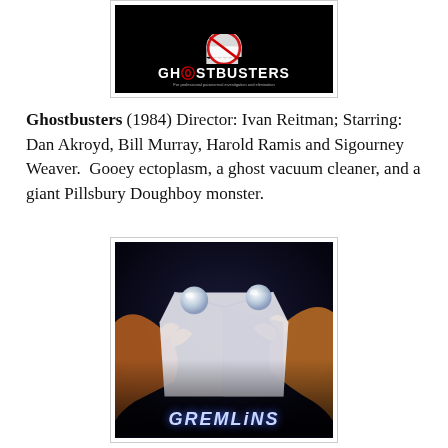[Figure (photo): Ghostbusters (1984) movie poster showing the Ghostbusters logo on black background with the title 'GHOSTBUSTERS' in white letters and subtitle 'For professional paranormal investigation and elimination']
Ghostbusters (1984) Director: Ivan Reitman; Starring: Dan Akroyd, Bill Murray, Harold Ramis and Sigourney Weaver.  Gooey ectoplasm, a ghost vacuum cleaner, and a giant Pillsbury Doughboy monster.
[Figure (photo): Gremlins (1984) movie poster showing creature hands holding a box with the title 'GREMLINS' at the bottom in stylized blue letters on a dark background]